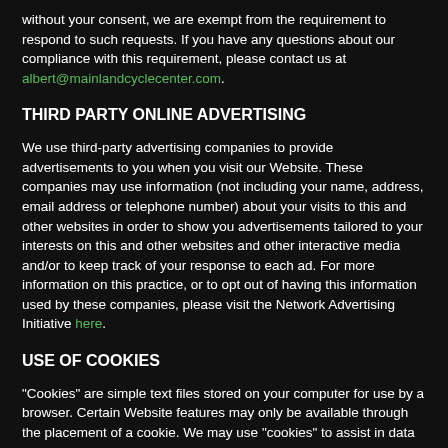without your consent, we are exempt from the requirement to respond to such requests. If you have any questions about our compliance with this requirement, please contact us at albert@mainlandcyclecenter.com.
THIRD PARTY ONLINE ADVERTISING
We use third-party advertising companies to provide advertisements to you when you visit our Website. These companies may use information (not including your name, address, email address or telephone number) about your visits to this and other websites in order to show you advertisements tailored to your interests on this and other websites and other interactive media and/or to keep track of your response to each ad. For more information on this practice, or to opt out of having this information used by these companies, please visit the Network Advertising Initiative here.
USE OF COOKIES
"Cookies" are simple text files stored on your computer for use by a browser. Certain Website features may only be available through the placement of a cookie. We may use "cookies" to assist in data collection and to track visitor Website usage and to selectively show advertisements to